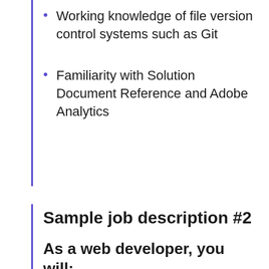Working knowledge of file version control systems such as Git
Familiarity with Solution Document Reference and Adobe Analytics
Sample job description #2
As a web developer, you will: